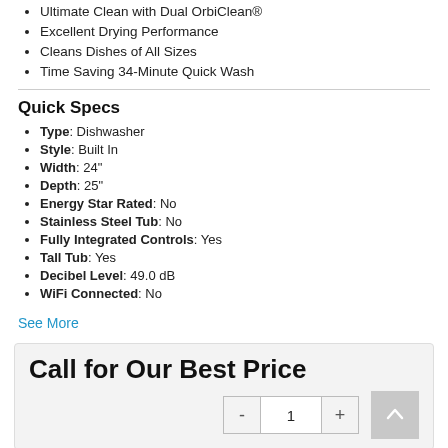Ultimate Clean with Dual OrbiClean®
Excellent Drying Performance
Cleans Dishes of All Sizes
Time Saving 34-Minute Quick Wash
Quick Specs
Type: Dishwasher
Style: Built In
Width: 24"
Depth: 25"
Energy Star Rated: No
Stainless Steel Tub: No
Fully Integrated Controls: Yes
Tall Tub: Yes
Decibel Level: 49.0 dB
WiFi Connected: No
See More
Call for Our Best Price